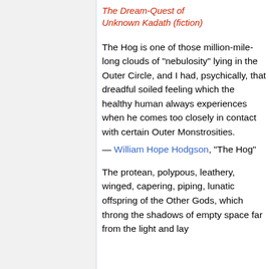The Dream-Quest of Unknown Kadath (fiction)
The Hog is one of those million-mile-long clouds of "nebulosity" lying in the Outer Circle, and I had, psychically, that dreadful soiled feeling which the healthy human always experiences when he comes too closely in contact with certain Outer Monstrosities.
— William Hope Hodgson, "The Hog"
The protean, polypous, leathery, winged, capering, piping, lunatic offspring of the Other Gods, which throng the shadows of empty space far from the light and lay